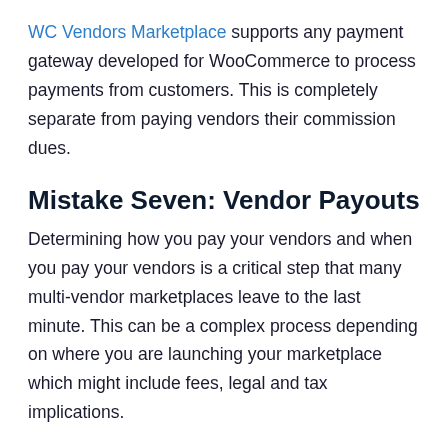WC Vendors Marketplace supports any payment gateway developed for WooCommerce to process payments from customers. This is completely separate from paying vendors their commission dues.
Mistake Seven: Vendor Payouts
Determining how you pay your vendors and when you pay your vendors is a critical step that many multi-vendor marketplaces leave to the last minute. This can be a complex process depending on where you are launching your marketplace which might include fees, legal and tax implications.
How will you pay your vendors and on what